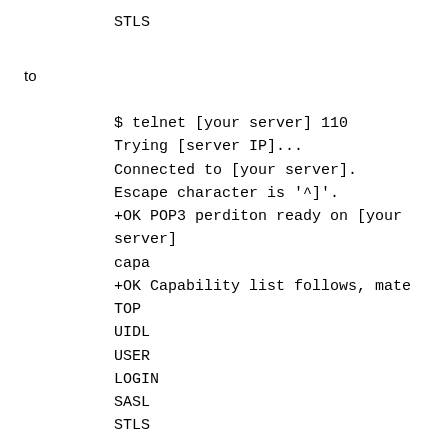STLS
to
$ telnet [your server] 110
Trying [server IP]...
Connected to [your server].
Escape character is '^]'.
+OK POP3 perditon ready on [your server]
capa
+OK Capability list follows, mate
TOP
UIDL
USER
LOGIN
SASL
STLS
We hope this will be useful to Perdition admins with newly minted Lion customers who are most likely roaring about Lion's POP problems.